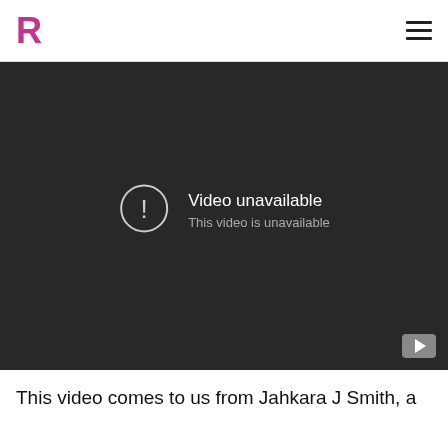R
[Figure (screenshot): Embedded video player showing 'Video unavailable / This video is unavailable' message on a dark background with a YouTube button in the bottom right corner.]
This video comes to us from Jahkara J Smith, a